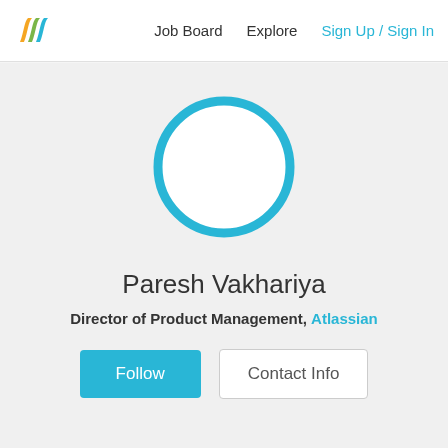Job Board   Explore   Sign Up / Sign In
[Figure (illustration): Circular avatar placeholder with blue stroke outline and white/light background, representing a user profile photo placeholder]
Paresh Vakhariya
Director of Product Management, Atlassian
Follow   Contact Info